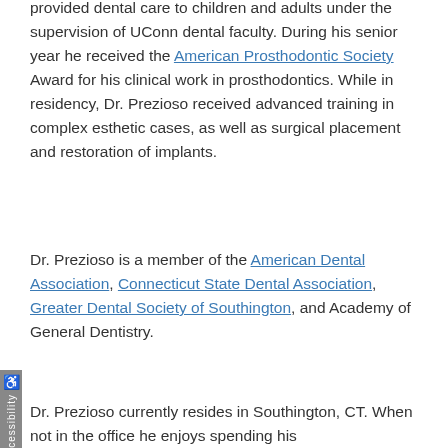provided dental care to children and adults under the supervision of UConn dental faculty. During his senior year he received the American Prosthodontic Society Award for his clinical work in prosthodontics. While in residency, Dr. Prezioso received advanced training in complex esthetic cases, as well as surgical placement and restoration of implants.
Dr. Prezioso is a member of the American Dental Association, Connecticut State Dental Association, Greater Dental Society of Southington, and Academy of General Dentistry.
Dr. Prezioso currently resides in Southington, CT. When not in the office he enjoys spending his